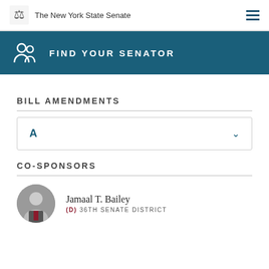The New York State Senate
FIND YOUR SENATOR
BILL AMENDMENTS
A
CO-SPONSORS
Jamaal T. Bailey (D) 36TH SENATE DISTRICT